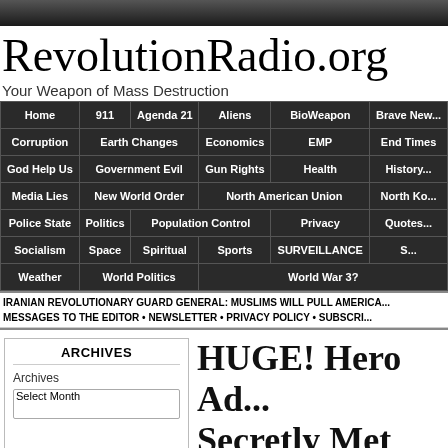RevolutionRadio.org
Your Weapon of Mass Destruction
[Figure (screenshot): Navigation menu with dark background containing links: Home, 911, Agenda 21, Aliens, BioWeapon, Brave New..., Corruption, Earth Changes, Economics, EMP, End Times, God Help Us, Government Evil, Gun Rights, Health, History..., Media Lies, New World Order, North American Union, North Ko..., Police State, Politics, Population Control, Privacy, Quotes..., Socialism, Space, Spiritual, Sports, SURVEILLANCE, S..., Weather, World Politics, World War 3?]
IRANIAN REVOLUTIONARY GUARD GENERAL: MUSLIMS WILL PULL AMERICA...
MESSAGES TO THE EDITOR • NEWSLETTER • PRIVACY POLICY • SUBSCRI...
ARCHIVES
Archives
HUGE! Hero Ad... Secretly Met wi...